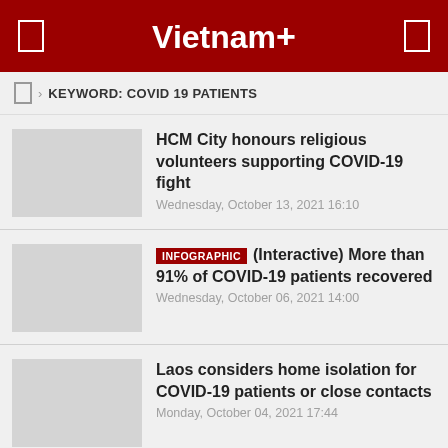Vietnam+
KEYWORD: COVID 19 PATIENTS
HCM City honours religious volunteers supporting COVID-19 fight
Wednesday, October 13, 2021 16:10
INFOGRAPHIC (Interactive) More than 91% of COVID-19 patients recovered
Wednesday, October 06, 2021 14:00
Laos considers home isolation for COVID-19 patients or close contacts
Monday, October 04, 2021 17:44